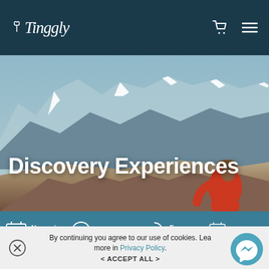[Figure (logo): Tinggly logo — white italic script with a small tag icon, on dark teal navbar]
[Figure (photo): Hero image: person in red jacket sitting on rocky mountain ridge looking at snow-capped Himalayan mountains in misty background, with text 'Discovery Experiences' overlaid]
Discovery Experiences
No expiry date
Easy refund
Free exchange
By continuing you agree to our use of cookies. Learn more in Privacy Policy.
< ACCEPT ALL >